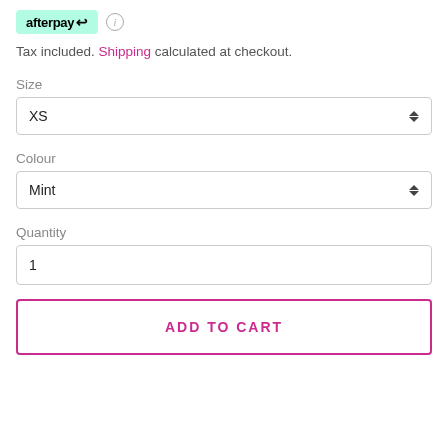[Figure (logo): Afterpay logo badge in mint green with afterpay arrow icon and an info circle icon]
Tax included. Shipping calculated at checkout.
Size
XS
Colour
Mint
Quantity
1
ADD TO CART